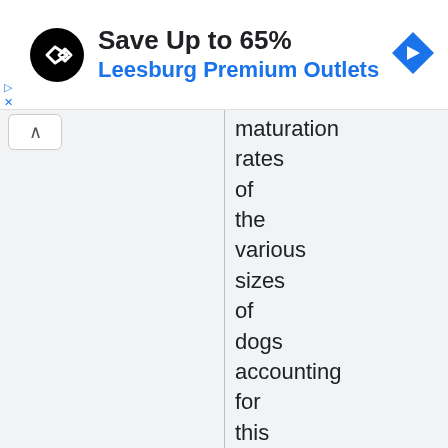[Figure (screenshot): Advertisement banner: circular black logo with double-arrow symbol, text 'Save Up to 65%' in bold black and 'Leesburg Premium Outlets' in blue, blue diamond navigation icon on right. Small blue play and X icons on far left.]
maturation rates of the various sizes of dogs accounting for this variation